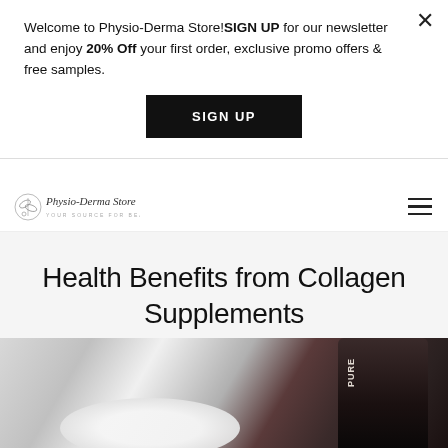Welcome to Physio-Derma Store!SIGN UP for our newsletter and enjoy 20% Off your first order, exclusive promo offers & free samples.
SIGN UP
[Figure (logo): Physio-Derma Store logo with botanical illustration and tagline 'Your Source For Beauty']
Health Benefits from Collagen Supplements
[Figure (photo): Black and white photo of collagen supplement powder in a scoop with a dark supplement container/can on the right side]